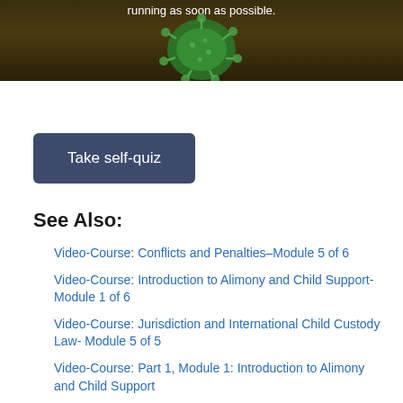[Figure (photo): Dark brown background image with coronavirus/virus particle illustration and text 'running as soon as possible.' in white at top]
Take self-quiz
See Also:
Video-Course: Conflicts and Penalties–Module 5 of 6
Video-Course: Introduction to Alimony and Child Support- Module 1 of 6
Video-Course: Jurisdiction and International Child Custody Law- Module 5 of 5
Video-Course: Part 1, Module 1: Introduction to Alimony and Child Support
Video-Course: Part 1, Module 5: Conflicts and...